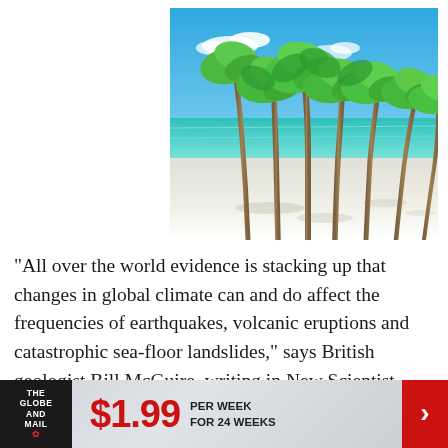[Figure (photo): Tropical beach with tall palm trees lining white sand beach and turquoise ocean water under blue sky]
"All over the world evidence is stacking up that changes in global climate can and do affect the frequencies of earthquakes, volcanic eruptions and catastrophic sea-floor landslides," says British geologist Bill McGuire, writing in New Scientist
[Figure (infographic): The Globe and Mail advertisement banner: $1.99 per week for 24 weeks]